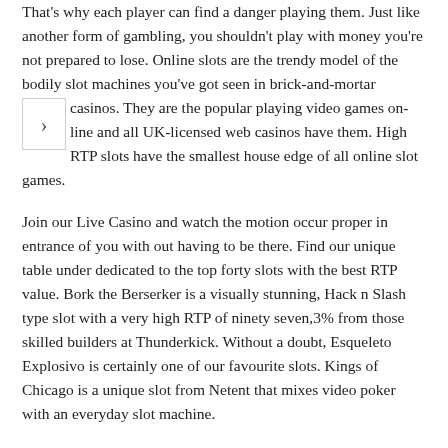That's why each player can find a danger playing them. Just like another form of gambling, you shouldn't play with money you're not prepared to lose. Online slots are the trendy model of the bodily slot machines you've got seen in brick-and-mortar casinos. They are the popular playing video games on-line and all UK-licensed web casinos have them. High RTP slots have the smallest house edge of all online slot games.
Join our Live Casino and watch the motion occur proper in entrance of you with out having to be there. Find our unique table under dedicated to the top forty slots with the best RTP value. Bork the Berserker is a visually stunning, Hack n Slash type slot with a very high RTP of ninety seven,3% from those skilled builders at Thunderkick. Without a doubt, Esqueleto Explosivo is certainly one of our favourite slots. Kings of Chicago is a unique slot from Netent that mixes video poker with an everyday slot machine.
The extra individuals play slot games, the extra requirements they impose for them. As a end result, developers of slot games must work a lot to launch games that may satisfy the elevated expectations of